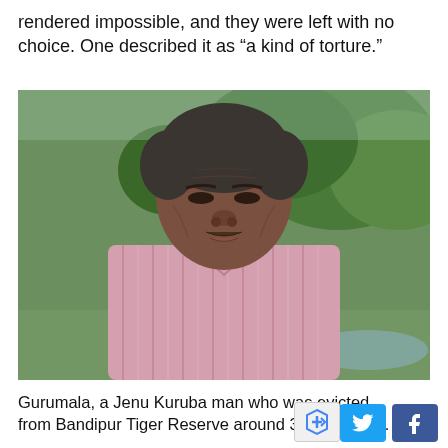rendered impossible, and they were left with no choice. One described it as “a kind of torture.”
[Figure (photo): Portrait photograph of Gurumala, an elderly Jenu Kuruba man wearing a pink striped shirt, photographed outdoors with green foliage in the background.]
Gurumala, a Jenu Kuruba man who was evicted from Bandipur Tiger Reserve around 30 years ago.